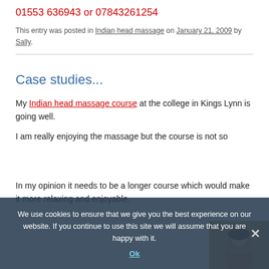01553 636943 or 07843261254
This entry was posted in Indian head massage on January 21, 2009 by Sally.
Case studies...
My Indian head massage course at the college in Kings Lynn is going well.
I am really enjoying the massage but the course is not so
In my opinion it needs to be a longer course which would make it more relaxing and enjoyable.
We use cookies to ensure that we give you the best experience on our website. If you continue to use this site we will assume that you are happy with it.
[Figure (photo): Thumbnail photo showing a person receiving a head massage]